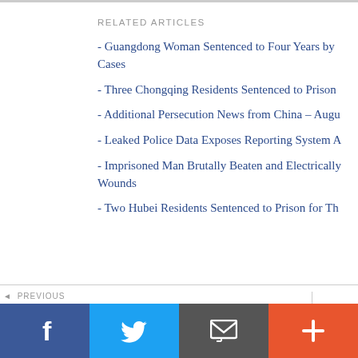RELATED ARTICLES
- Guangdong Woman Sentenced to Four Years by Cases
- Three Chongqing Residents Sentenced to Prison
- Additional Persecution News from China – Augu
- Leaked Police Data Exposes Reporting System A
- Imprisoned Man Brutally Beaten and Electrically Wounds
- Two Hubei Residents Sentenced to Prison for Th
◄ PREVIOUS
"Latest News from China - 02/25/2003"